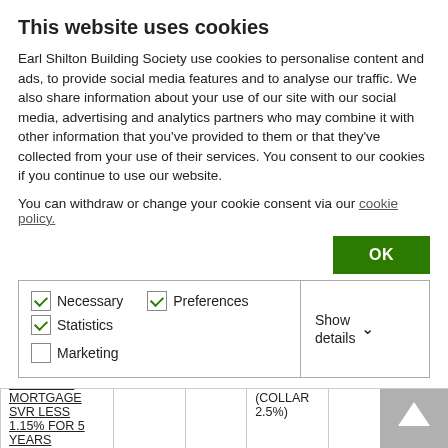This website uses cookies
Earl Shilton Building Society use cookies to personalise content and ads, to provide social media features and to analyse our traffic. We also share information about your use of our site with our social media, advertising and analytics partners who may combine it with other information that you've provided to them or that they've collected from your use of their services. You consent to our cookies if you continue to use our website.
You can withdraw or change your cookie consent via our cookie policy.
OK button with cookie checkboxes: Necessary (checked), Preferences (checked), Statistics (checked), Marketing (unchecked), Show details
| Product | Term | Initial Rate | Rate After | APRC | Tie-in |
| --- | --- | --- | --- | --- | --- |
| DISCOUNT MORTGAGE SVR LESS 1.15% FOR 5 YEARS | 5 YEARS | 5.59% | 4.44% (COLLAR 2.5%) | 5.3% | 3 YEAR |